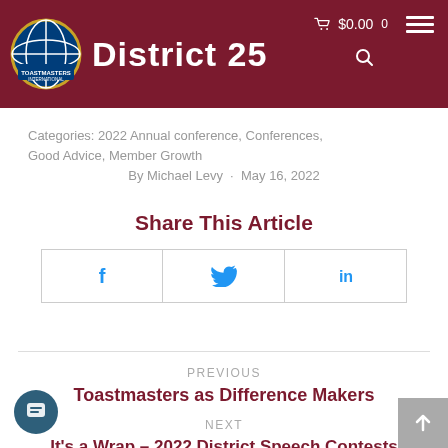District 25 - Toastmasters International
Categories: 2022 Annual conference, Conferences, Good Advice, Member Growth
By Michael Levy · May 16, 2022
Share This Article
[Figure (infographic): Three social share buttons: Facebook (f), Twitter (bird icon), LinkedIn (in)]
PREVIOUS
Toastmasters as Difference Makers
NEXT
It's a Wrap – 2022 District Speech Contests